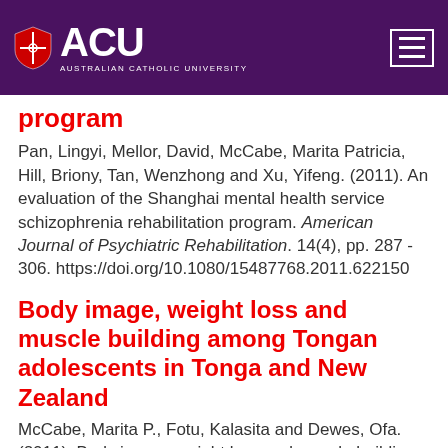[Figure (logo): Australian Catholic University (ACU) logo with shield and menu hamburger icon on purple header background]
program
Pan, Lingyi, Mellor, David, McCabe, Marita Patricia, Hill, Briony, Tan, Wenzhong and Xu, Yifeng. (2011). An evaluation of the Shanghai mental health service schizophrenia rehabilitation program. American Journal of Psychiatric Rehabilitation. 14(4), pp. 287 - 306. https://doi.org/10.1080/15487768.2011.622150
Body image, weight loss and muscle building among Tongan adolescents in Tonga and New Zealand
McCabe, Marita P., Fotu, Kalasita and Dewes, Ofa. (2011). Body image, weight loss and muscle building among Tongan adolescents in Tonga and New